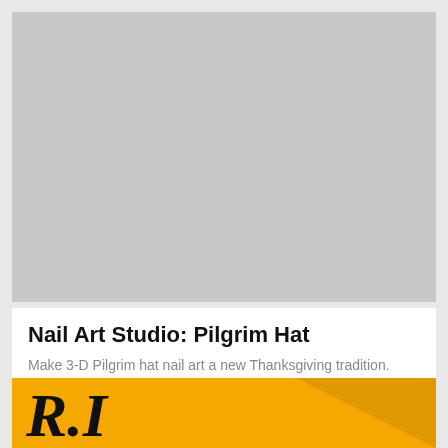[Figure (photo): Gray placeholder image rectangle representing a photo]
Nail Art Studio: Pilgrim Hat
Make 3-D Pilgrim hat nail art a new Thanksgiving tradition.
[Figure (logo): Partial logo on gold/yellow background with large stylized italic letters 'R' and 'L' visible, with a lighter triangular highlight on the right side]